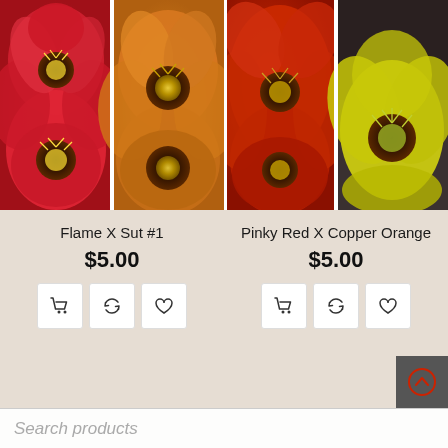[Figure (photo): Four cactus flower photos in a 2x2 grid: left pair shows red and orange flowers (Flame X Sut #1), right pair shows orange-red and yellow flowers (Pinky Red X Copper Orange)]
Flame X Sut #1
$5.00
Pinky Red X Copper Orange
$5.00
Search products